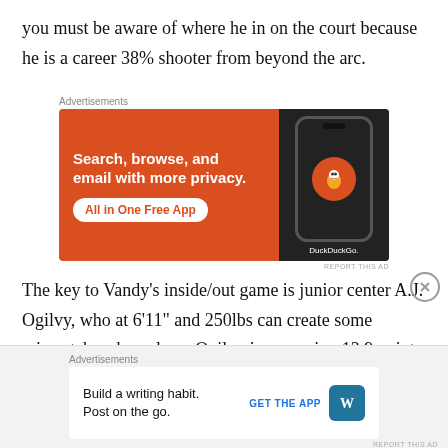you must be aware of where he in on the court because he is a career 38% shooter from beyond the arc.
[Figure (other): DuckDuckGo advertisement banner: orange background with text 'Search, browse, and email with more privacy. All in One Free App' and a phone showing the DuckDuckGo logo.]
The key to Vandy's inside/out game is junior center A.J. Ogilvy, who at 6'11" and 250lbs can create some mismatches down low.  Ogilvy is averaging 13.9 points and 6.0 rebounds, and he is the glue that holds it all together.  If Ogilvy is able to establish himself and score
[Figure (other): WordPress app advertisement: 'Build a writing habit. Post on the go.' with GET THE APP button and WordPress logo icon.]